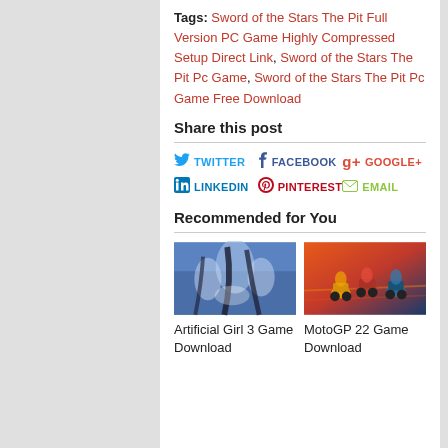Tags: Sword of the Stars The Pit Full Version PC Game Highly Compressed Setup Direct Link, Sword of the Stars The Pit Pc Game, Sword of the Stars The Pit Pc Game Free Download
Share this post
TWITTER | FACEBOOK | GOOGLE+ | LINKEDIN | PINTEREST | EMAIL
Recommended for You
[Figure (photo): Anime-style illustration of three female characters on blue background — Artificial Girl 3 game art]
[Figure (photo): Motorcycle racing game art with multiple colored motorcycles on orange/red background — MotoGP 22 game art]
Artificial Girl 3 Game Download
MotoGP 22 Game Download